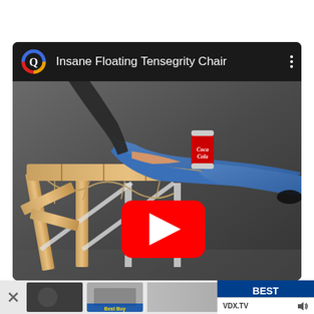[Figure (screenshot): YouTube video card showing 'Insane Floating Tensegrity Chair' with a person sitting on a wooden tensegrity chair holding a Coca-Cola can. A YouTube play button overlay is visible in the center of the thumbnail. Below the card is a bottom advertisement strip with small thumbnails and a Best Buy advertisement on the right side with VDX.TV branding.]